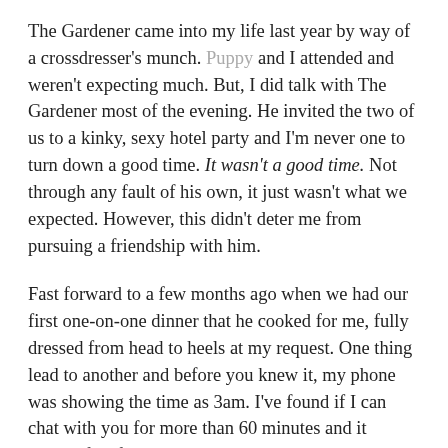The Gardener came into my life last year by way of a crossdresser's munch. Puppy and I attended and weren't expecting much. But, I did talk with The Gardener most of the evening. He invited the two of us to a kinky, sexy hotel party and I'm never one to turn down a good time. It wasn't a good time. Not through any fault of his own, it just wasn't what we expected. However, this didn't deter me from pursuing a friendship with him.
Fast forward to a few months ago when we had our first one-on-one dinner that he cooked for me, fully dressed from head to heels at my request. One thing lead to another and before you knew it, my phone was showing the time as 3am. I've found if I can chat with you for more than 60 minutes and it doesn't feel forced, that's a good sign, so we kept talking. And kept talking.
Each day we'd continue one of the previous late night's